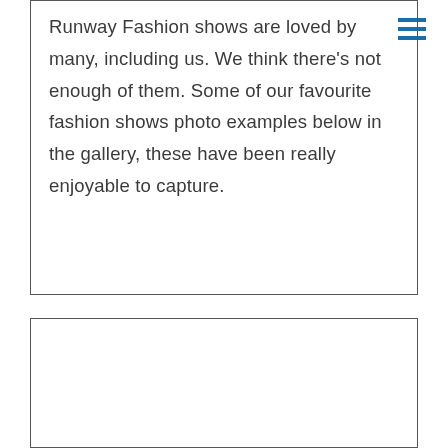Runway Fashion shows are loved by many, including us. We think there's not enough of them. Some of our favourite fashion shows photo examples below in the gallery, these have been really enjoyable to capture.
[Figure (photo): Empty white image box placeholder for fashion show gallery photos]